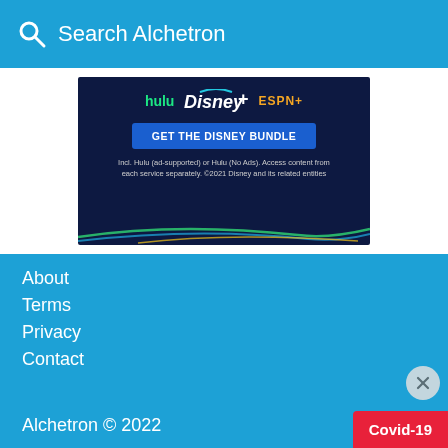Search Alchetron
[Figure (illustration): Disney Bundle advertisement banner showing Hulu, Disney+, and ESPN+ logos with 'GET THE DISNEY BUNDLE' call to action button and fine print text: 'Incl. Hulu (ad-supported) or Hulu (No Ads). Access content from each service separately. ©2021 Disney and its related entities']
About
Terms
Privacy
Contact
Alchetron © 2022